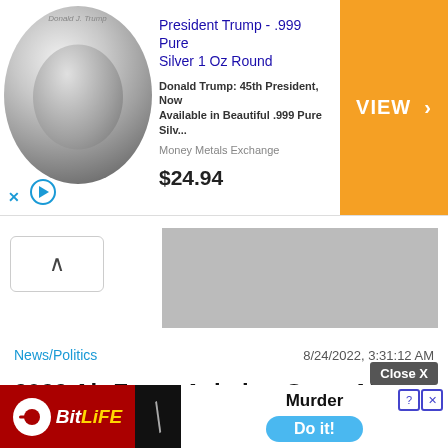[Figure (screenshot): Top advertisement banner featuring a silver coin (Donald Trump .999 Pure Silver 1 Oz Round), priced at $24.94 with an orange VIEW button, from Money Metals Exchange]
[Figure (photo): Gray image placeholder rectangle]
^
News/Politics      8/24/2022, 3:31:12 AM
2022 Air Force Aviation Open Air Show Lineup Announced
[Figure (screenshot): Bottom advertisement for BitLife game featuring 'Murder - Do it!' call to action with Close X button]